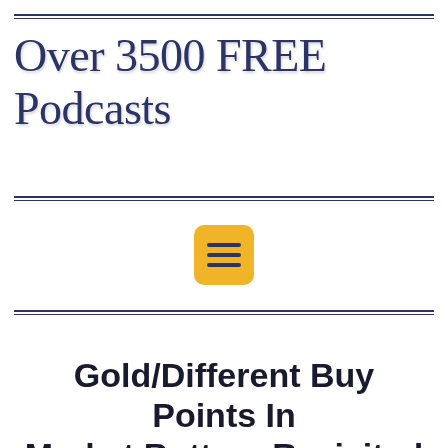Over 3500 FREE Podcasts
[Figure (other): Yellow rounded square menu/hamburger button icon with three horizontal dark navy lines]
Gold/Different Buy Points In Market Bottom Revisited